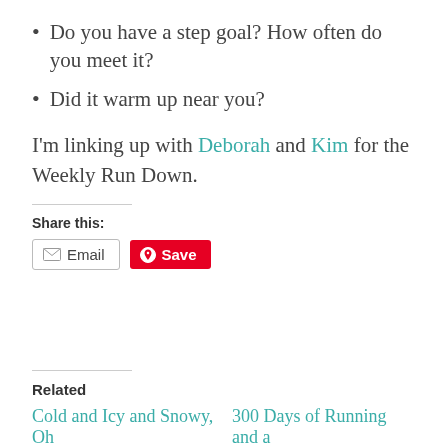Do you have a step goal? How often do you meet it?
Did it warm up near you?
I'm linking up with Deborah and Kim for the Weekly Run Down.
Share this:
Email  Save
Related
Cold and Icy and Snowy, Oh   300 Days of Running and a